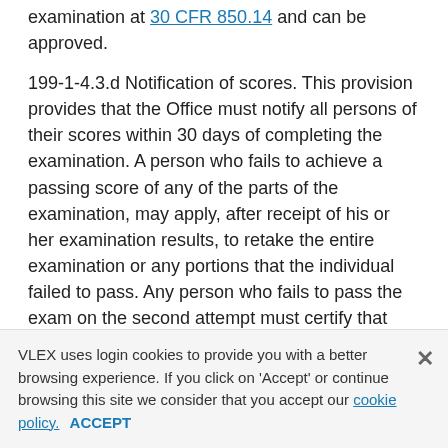examination at 30 CFR 850.14 and can be approved.
199-1-4.3.d Notification of scores. This provision provides that the Office must notify all persons of their scores within 30 days of completing the examination. A person who fails to achieve a passing score of any of the parts of the examination, may apply, after receipt of his or her examination results, to retake the entire examination or any portions that the individual failed to pass. Any person who fails to pass the exam on the second attempt must certify that he/she has taken or retaken the training course described at CSR 199-1-4.2 prior to applying for another examination. Similar provisions regarding notification of scores were
VLEX uses login cookies to provide you with a better browsing experience. If you click on 'Accept' or continue browsing this site we consider that you accept our cookie policy. ACCEPT